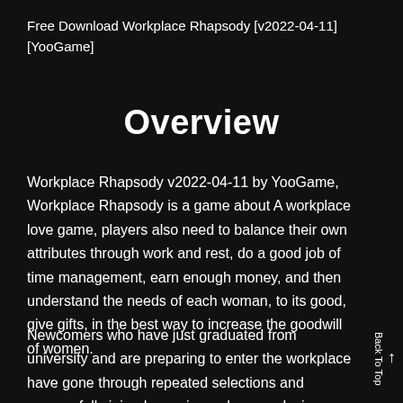Free Download Workplace Rhapsody [v2022-04-11] [YooGame]
Overview
Workplace Rhapsody v2022-04-11 by YooGame, Workplace Rhapsody is a game about A workplace love game, players also need to balance their own attributes through work and rest, do a good job of time management, earn enough money, and then understand the needs of each woman, to its good, give gifts, in the best way to increase the goodwill of women.
Newcomers who have just graduated from university and are preparing to enter the workplace have gone through repeated selections and successfully joined a senior underwear design company. How to interact with people in